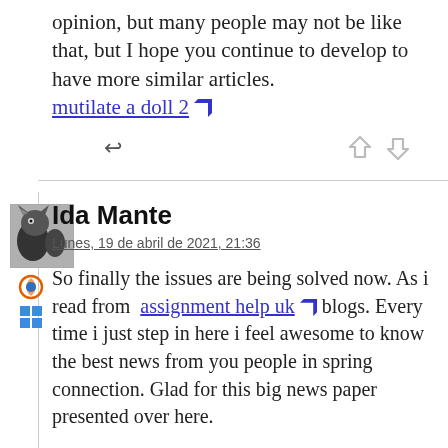opinion, but many people may not be like that, but I hope you continue to develop to have more similar articles. mutilate a doll 2 [ext link]
Ida Mante
Lunes, 19 de abril de 2021, 21:36
So finally the issues are being solved now. As i read from assignment help uk [ext link] blogs. Every time i just step in here i feel awesome to know the best news from you people in spring connection. Glad for this big news paper presented over here.